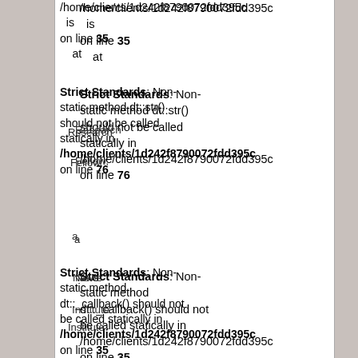/home/clients/1d242f8790072fdd395c
is
on line 35
    at
Research
Fellow,
a
News
Institute
Conducting
philosophical
and
historical
research
into
the
Origins
of
Islam
its
Holy
Strict Standards: Non-static method dt::str() should not be called statically in /home/clients/1d242f8790072fdd395c on line 76
Strict Standards: Non-static method dt::_callback() should not be called statically in /home/clients/1d242f8790072fdd395c on line 35
Strict Standards: Non-static method dt::_callback() should not be called statically in /home/clients/1d242f8790072fdd395c on line 35
Strict Standards: Non-static method dt::str() should not be called statically in /home/clients/1d242f8790072fdd395c on line 76
Strict Standards: Non-